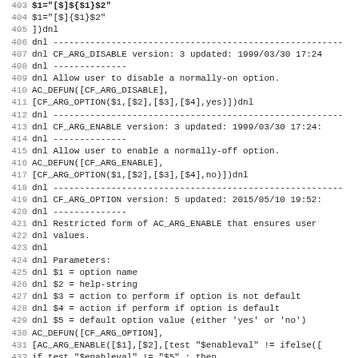Source code listing lines 404-435, showing m4/autoconf macro definitions for CF_ARG_DISABLE, CF_ARG_ENABLE, and CF_ARG_OPTION